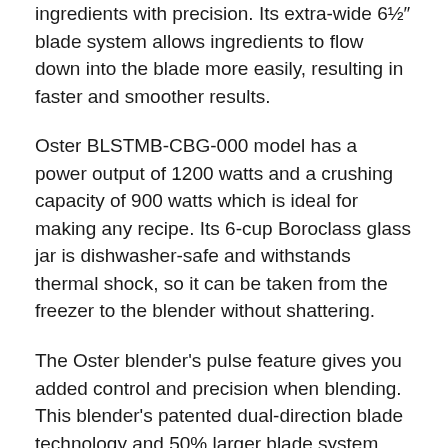ingredients with precision. Its extra-wide 6½″ blade system allows ingredients to flow down into the blade more easily, resulting in faster and smoother results.
Oster BLSTMB-CBG-000 model has a power output of 1200 watts and a crushing capacity of 900 watts which is ideal for making any recipe. Its 6-cup Boroclass glass jar is dishwasher-safe and withstands thermal shock, so it can be taken from the freezer to the blender without shattering.
The Oster blender's pulse feature gives you added control and precision when blending. This blender's patented dual-direction blade technology and 50% larger blade system can handle even the toughest ingredients.